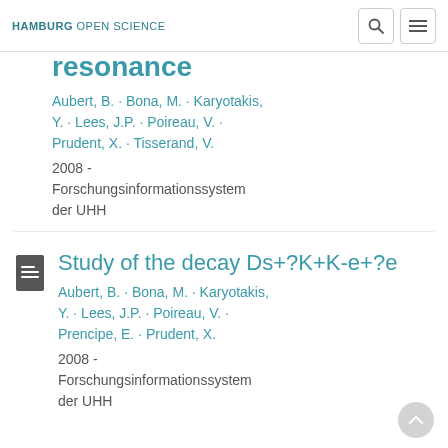HAMBURG OPEN SCIENCE
resonance
Aubert, B. · Bona, M. · Karyotakis, Y. · Lees, J.P. · Poireau, V. · Prudent, X. · Tisserand, V.
2008 -
Forschungsinformationssystem der UHH
Study of the decay Ds+?K+K-e+?e
Aubert, B. · Bona, M. · Karyotakis, Y. · Lees, J.P. · Poireau, V. · Prencipe, E. · Prudent, X.
2008 -
Forschungsinformationssystem der UHH